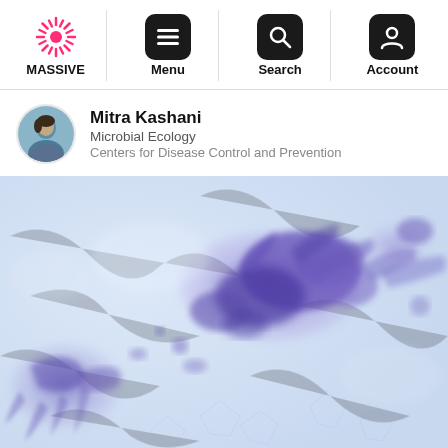MASSIVE | Menu | Search | Account
Mitra Kashani
Microbial Ecology
Centers for Disease Control and Prevention
[Figure (photo): Microscopy image showing bacterial cells or microbial colonies stained in purple/violet against a light blue background, typical of a Gram stain or crystal violet staining technique.]